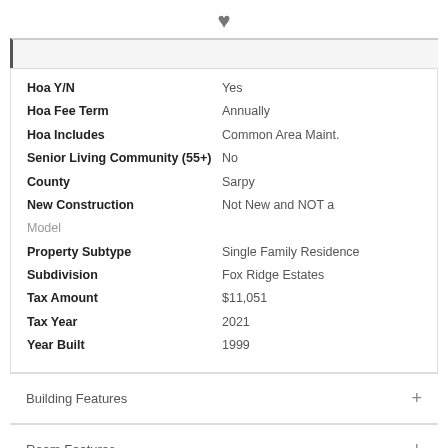[Figure (illustration): Heart icon (favorite/save button)]
| Field | Value |
| --- | --- |
| Hoa Y/N | Yes |
| Hoa Fee Term | Annually |
| Hoa Includes | Common Area Maint. |
| Senior Living Community (55+) | No |
| County | Sarpy |
| New Construction | Not New and NOT a Model |
| Property Subtype | Single Family Residence |
| Subdivision | Fox Ridge Estates |
| Tax Amount | $11,051 |
| Tax Year | 2021 |
| Year Built | 1999 |
Building Features
Room Features